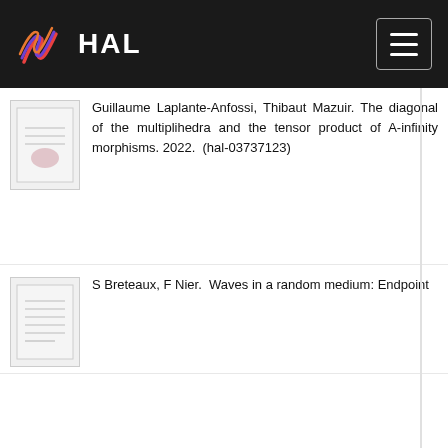HAL
Guillaume Laplante-Anfossi, Thibaut Mazuir. The diagonal of the multiplihedra and the tensor product of A-infinity morphisms. 2022. (hal-03737123)
S Breteaux, F Nier. Waves in a random medium: Endpoint